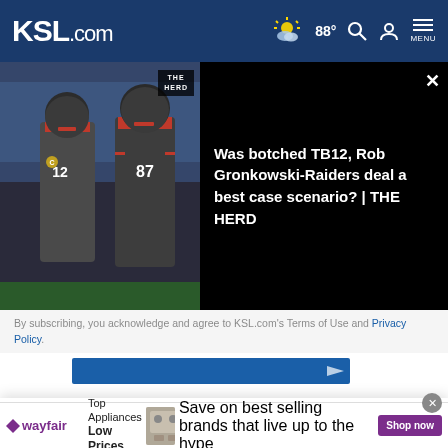KSL.com  88°  Search  Account  MENU
[Figure (screenshot): Video thumbnail showing two Tampa Bay Buccaneers football players (#87 Rob Gronkowski) on field, with THE HERD logo badge overlay]
Was botched TB12, Rob Gronkowski-Raiders deal a best case scenario? | THE HERD
By subscribing, you acknowledge and agree to KSL.com's Terms of Use and Privacy Policy.
[Figure (screenshot): Partial blue video player bar]
Cookie Notice
We use cookies to improve your experience, analyze site traffic, and to personalize content and ads. By continuing to use our site, you consent to our use of cookies. Please visit our Terms of Use and Privacy Policy for more information
[Figure (screenshot): Wayfair advertisement: Top Appliances Low Prices, Save on best selling brands that live up to the hype, Shop now button]